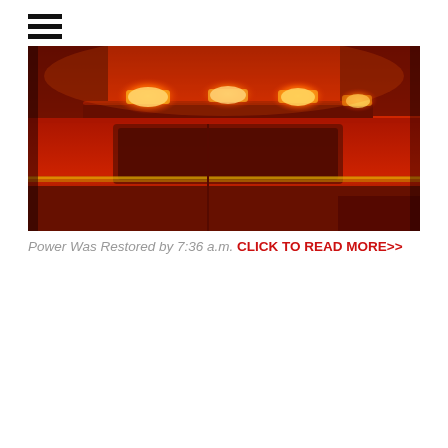[Figure (photo): Close-up of an emergency vehicle (fire truck or ambulance) with bright orange/red flashing lights on top, photographed at night or in low light. The roof-mounted light bar is prominently lit with amber/orange emergency lights.]
Power Was Restored by 7:36 a.m. CLICK TO READ MORE>>